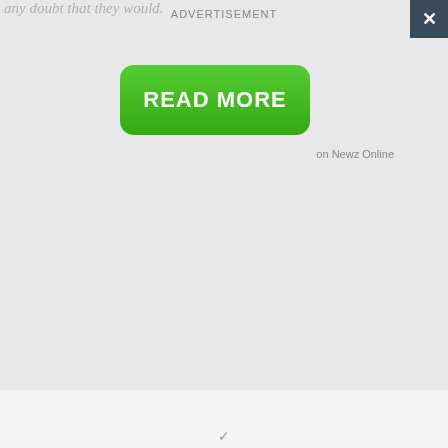any doubt that they would.
ADVERTISEMENT
[Figure (other): Green rounded rectangle button with white bold text READ MORE]
on Newz Online
✓